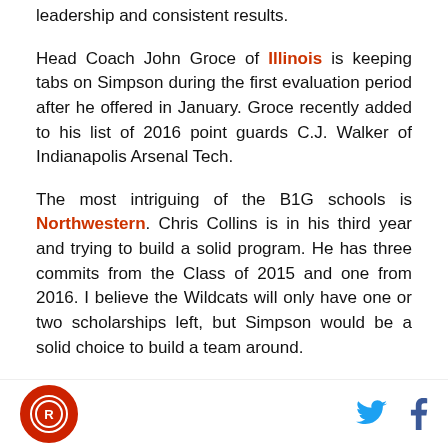leadership and consistent results.
Head Coach John Groce of Illinois is keeping tabs on Simpson during the first evaluation period after he offered in January. Groce recently added to his list of 2016 point guards C.J. Walker of Indianapolis Arsenal Tech.
The most intriguing of the B1G schools is Northwestern. Chris Collins is in his third year and trying to build a solid program. He has three commits from the Class of 2015 and one from 2016. I believe the Wildcats will only have one or two scholarships left, but Simpson would be a solid choice to build a team around.
[logo] [twitter] [facebook]